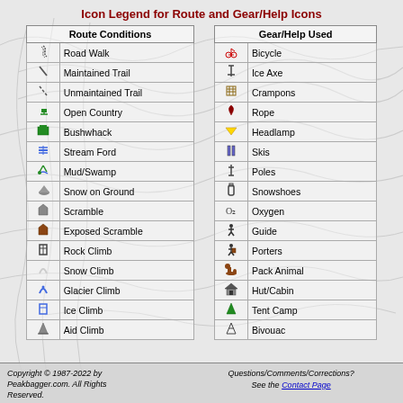Icon Legend for Route and Gear/Help Icons
| Icon | Route Conditions |  | Icon | Gear/Help Used |
| --- | --- | --- | --- | --- |
| [icon] | Road Walk |  | [icon] | Bicycle |
| [icon] | Maintained Trail |  | [icon] | Ice Axe |
| [icon] | Unmaintained Trail |  | [icon] | Crampons |
| [icon] | Open Country |  | [icon] | Rope |
| [icon] | Bushwhack |  | [icon] | Headlamp |
| [icon] | Stream Ford |  | [icon] | Skis |
| [icon] | Mud/Swamp |  | [icon] | Poles |
| [icon] | Snow on Ground |  | [icon] | Snowshoes |
| [icon] | Scramble |  | [icon] | Oxygen |
| [icon] | Exposed Scramble |  | [icon] | Guide |
| [icon] | Rock Climb |  | [icon] | Porters |
| [icon] | Snow Climb |  | [icon] | Pack Animal |
| [icon] | Glacier Climb |  | [icon] | Hut/Cabin |
| [icon] | Ice Climb |  | [icon] | Tent Camp |
| [icon] | Aid Climb |  | [icon] | Bivouac |
Copyright © 1987-2022 by Peakbagger.com. All Rights Reserved.  Questions/Comments/Corrections? See the Contact Page